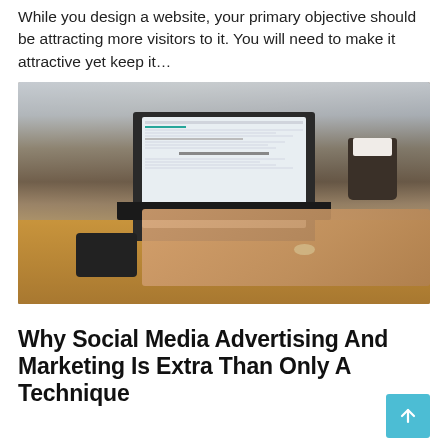While you design a website, your primary objective should be attracting more visitors to it. You will need to make it attractive yet keep it…
[Figure (photo): Person typing on a laptop at a wooden table in a cafe setting, with a coffee cup, smartphone, and other people visible in the background. The laptop screen shows a web interface.]
Why Social Media Advertising And Marketing Is Extra Than Only A Technique